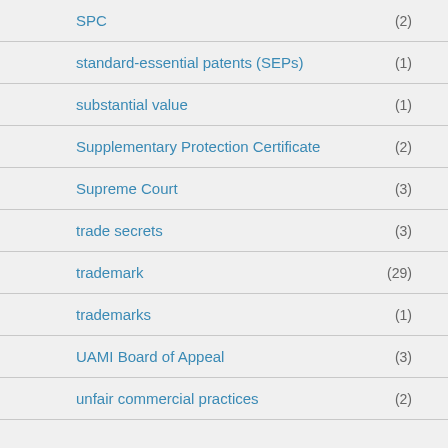SPC (2)
standard-essential patents (SEPs) (1)
substantial value (1)
Supplementary Protection Certificate (2)
Supreme Court (3)
trade secrets (3)
trademark (29)
trademarks (1)
UAMI Board of Appeal (3)
unfair commercial practices (2)